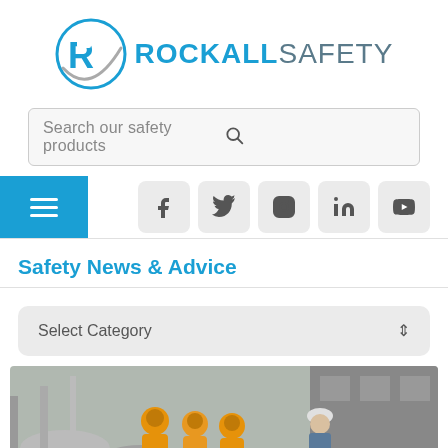[Figure (logo): Rockall Safety logo with a circular R icon and the text ROCKALL SAFETY]
Search our safety products
[Figure (screenshot): Navigation row with hamburger menu button (blue) and social media icons: Facebook, Twitter, Instagram, LinkedIn, YouTube]
Safety News & Advice
Select Category
[Figure (photo): Industrial workers in orange hazmat suits and a worker in white hard hat among large pipes and industrial equipment]